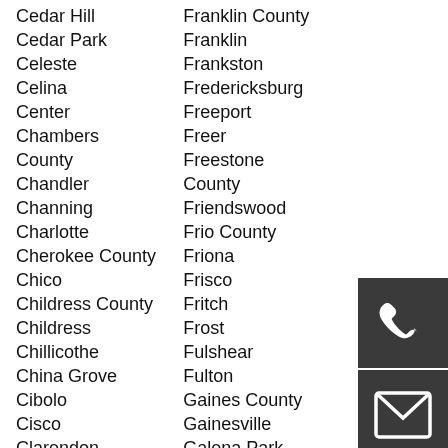Cedar Hill | Franklin County
Cedar Park | Franklin
Celeste | Frankston
Celina | Fredericksburg
Center | Freeport
Chambers County | Freer
County | Freestone County
Chandler | Friendswood
Channing | Frio County
Charlotte | Friona
Cherokee County | Frisco
Chico | Fritch
Childress County | Frost
Childress | Fulshear
Chillicothe | Fulton
China Grove | Gaines County
Cibolo | Gainesville
Cisco | Galena Park
Clarendon |
[Figure (illustration): Phone icon on dark grey background]
[Figure (illustration): Mail/envelope icon on dark grey background]